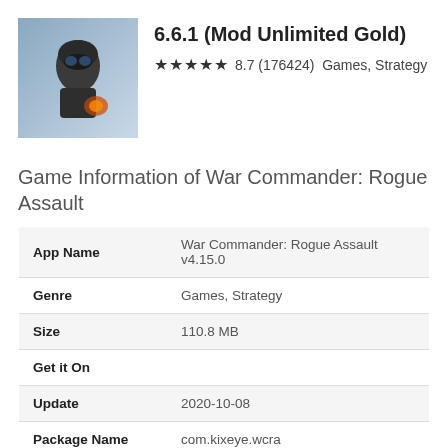[Figure (illustration): App icon for War Commander: Rogue Assault showing a soldier in military gear against a blue/gray background]
6.6.1 (Mod Unlimited Gold)
★★★★★ 8.7 (176424)  Games, Strategy
Game Information of War Commander: Rogue Assault
| Field | Value |
| --- | --- |
| App Name | War Commander: Rogue Assault v4.15.0 |
| Genre | Games, Strategy |
| Size | 110.8 MB |
| Get it On |  |
| Update | 2020-10-08 |
| Package Name | com.kixeye.wcra |